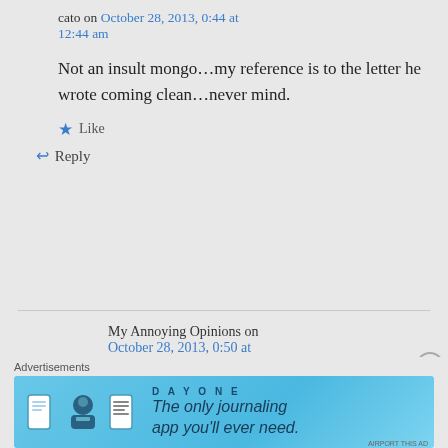cato on October 28, 2013, 0:44 at 12:44 am
Not an insult mongo…my reference is to the letter he wrote coming clean…never mind.
Like
Reply
My Annoying Opinions on October 28, 2013, 0:50 at 12:50 am
Advertisements
[Figure (illustration): DAY ONE app advertisement banner: blue background with icons of a journal, person, and document. Text reads 'The only journaling app you'll ever need.']